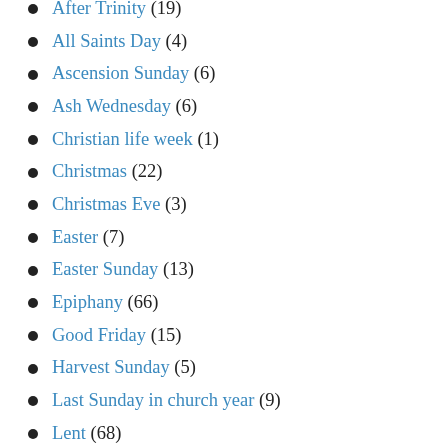After Trinity (19)
All Saints Day (4)
Ascension Sunday (6)
Ash Wednesday (6)
Christian life week (1)
Christmas (22)
Christmas Eve (3)
Easter (7)
Easter Sunday (13)
Epiphany (66)
Good Friday (15)
Harvest Sunday (5)
Last Sunday in church year (9)
Lent (68)
Maundy Thursday (10)
New Years Day (1)